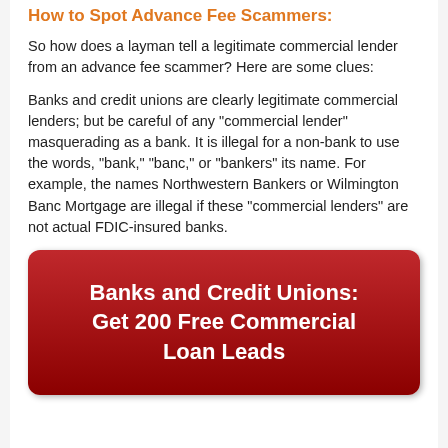How to Spot Advance Fee Scammers:
So how does a layman tell a legitimate commercial lender from an advance fee scammer?  Here are some clues:
Banks and credit unions are clearly legitimate commercial lenders; but be careful of any "commercial lender" masquerading as a bank.  It is illegal for a non-bank to use the words, "bank," "banc," or "bankers" its name.  For example, the names Northwestern Bankers or Wilmington Banc Mortgage are illegal if these "commercial lenders" are not actual FDIC-insured banks.
[Figure (infographic): Red banner button with white bold text reading: Banks and Credit Unions: Get 200 Free Commercial Loan Leads]